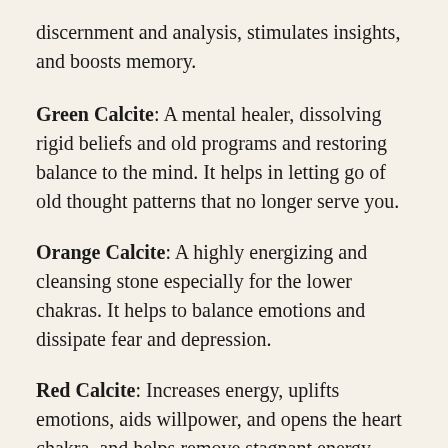discernment and analysis, stimulates insights, and boosts memory.
Green Calcite: A mental healer, dissolving rigid beliefs and old programs and restoring balance to the mind. It helps in letting go of old thought patterns that no longer serve you.
Orange Calcite: A highly energizing and cleansing stone especially for the lower chakras. It helps to balance emotions and dissipate fear and depression.
Red Calcite: Increases energy, uplifts emotions, aids willpower, and opens the heart chakra, and helps remove stagnant energy.
Honey (Gold) Calcite: It has a very expansive energy and helps to enhance meditation to induce a deep state of